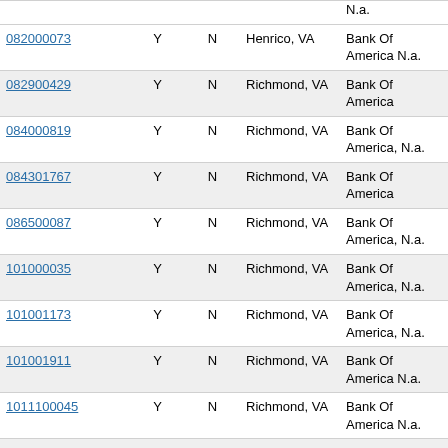| Routing Number | Col2 | Col3 | Location | Bank Name |
| --- | --- | --- | --- | --- |
| (partial top row) |  |  |  | N.a. |
| 082000073 | Y | N | Henrico, VA | Bank Of America N.a. |
| 082900429 | Y | N | Richmond, VA | Bank Of America |
| 084000819 | Y | N | Richmond, VA | Bank Of America, N.a. |
| 084301767 | Y | N | Richmond, VA | Bank Of America |
| 086500087 | Y | N | Richmond, VA | Bank Of America, N.a. |
| 101000035 | Y | N | Richmond, VA | Bank Of America, N.a. |
| 101001173 | Y | N | Richmond, VA | Bank Of America, N.a. |
| 101001911 | Y | N | Richmond, VA | Bank Of America N.a. |
| 1011100045 | Y | N | Richmond, VA | Bank Of America N.a. |
| 101901820 | Y | N | Richmond, VA | Bank Of America N.a. |
| 102201244 | Y | N | Richmond, VA | Bank Of America N.a. |
| 103000017 | Y | N | Henrico, VA | Bank Of America, N.a. |
| 107000327 | Y | N | Henrico, VA | Bank Of America, N.a. |
| 107000796 | Y | N | Richmond, VA | Bank Of America N.a. |